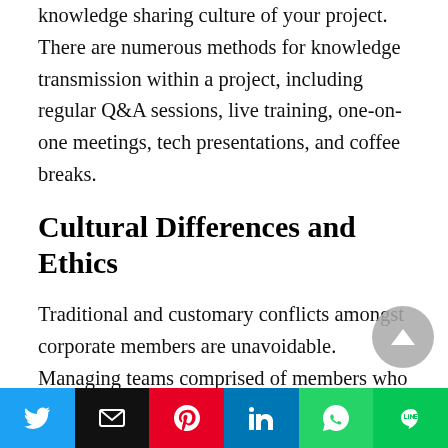knowledge sharing culture of your project. There are numerous methods for knowledge transmission within a project, including regular Q&A sessions, live training, one-on-one meetings, tech presentations, and coffee breaks.
Cultural Differences and Ethics
Traditional and customary conflicts amongst corporate members are unavoidable. Managing teams comprised of members who grew up in disparate environments might have an effect on the workplace dynamics.
Once these distinctions become cultural barriers, they should be identified immediately. Even the
Social share bar: Twitter, Email, Pinterest, LinkedIn, WhatsApp, LINE